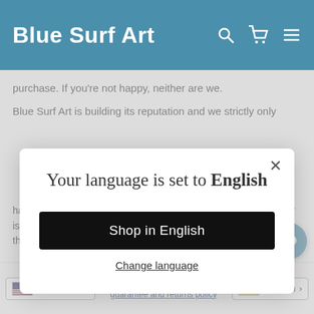Blue Surf Art
purchase. If you're not happy, neither are we.
Blue Surf Art is building its reputation and we strictly only
Your language is set to English
Shop in English
Change language
happy with the painting you receive we will repaint the painting or issue a replacement and ensure you are completely satisfied with the painting.
USD  |  German
or full details on our 100% guarantee and returns policy